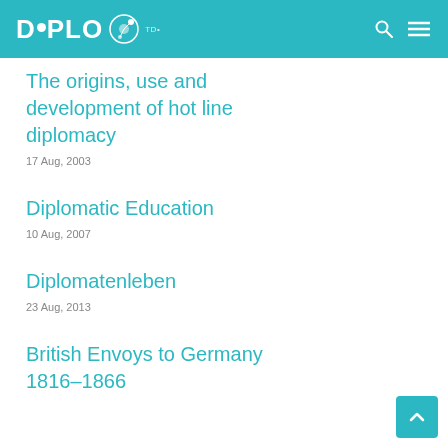DiPLO
The origins, use and development of hot line diplomacy
17 Aug, 2003
Diplomatic Education
10 Aug, 2007
Diplomatenleben
23 Aug, 2013
British Envoys to Germany 1816–1866